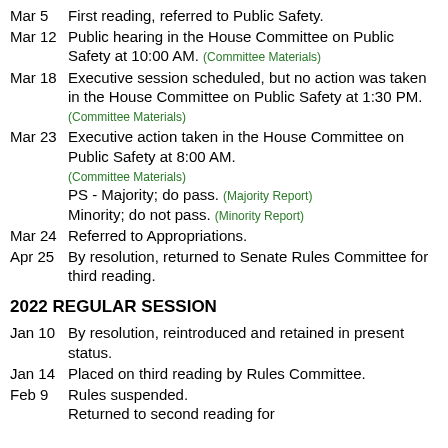Mar 5  First reading, referred to Public Safety.
Mar 12  Public hearing in the House Committee on Public Safety at 10:00 AM. (Committee Materials)
Mar 18  Executive session scheduled, but no action was taken in the House Committee on Public Safety at 1:30 PM. (Committee Materials)
Mar 23  Executive action taken in the House Committee on Public Safety at 8:00 AM. (Committee Materials) PS - Majority; do pass. (Majority Report) Minority; do not pass. (Minority Report)
Mar 24  Referred to Appropriations.
Apr 25  By resolution, returned to Senate Rules Committee for third reading.
2022 REGULAR SESSION
Jan 10  By resolution, reintroduced and retained in present status.
Jan 14  Placed on third reading by Rules Committee.
Feb 9  Rules suspended. Returned to second reading for